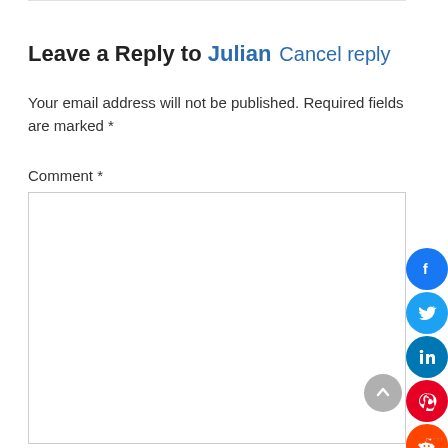Leave a Reply to Julian  Cancel reply
Your email address will not be published. Required fields are marked *
Comment *
Name *